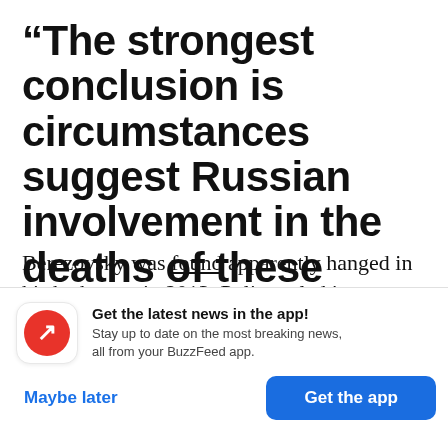“The strongest conclusion is circumstances suggest Russian involvement in the deaths of these men”
Berezovsky was found apparently hanged in his bathroom in 2013. Police ruled it a suicide, but US intelligence officials said they suspect he was assassinated. His business partner, the Georgian
[Figure (infographic): BuzzFeed app notification banner with red circular logo containing a white trending arrow icon, headline 'Get the latest news in the app!', subtext 'Stay up to date on the most breaking news, all from your BuzzFeed app.', and two buttons: 'Maybe later' (blue text) and 'Get the app' (blue filled button)]